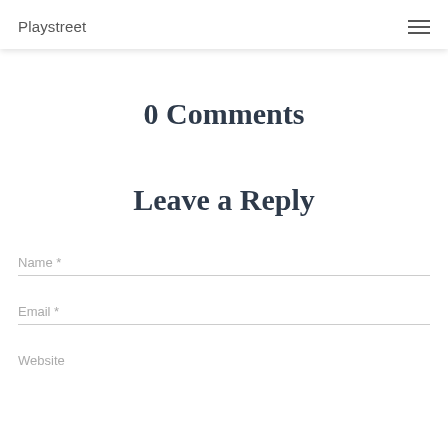Playstreet
0 Comments
Leave a Reply
Name *
Email *
Website